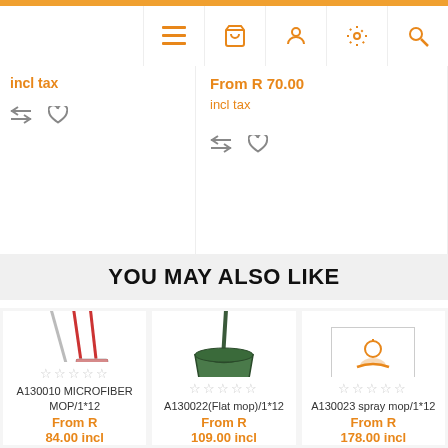Navigation bar with menu, basket, account, settings, and search icons
incl tax
From R 70.00 incl tax
YOU MAY ALSO LIKE
[Figure (photo): A130010 MICROFIBER MOP/1*12 - flat mop with red handle]
A130010 MICROFIBER MOP/1*12
From R 84.00 incl
[Figure (photo): A130022(Flat mop)/1*12 - green dustpan with handle]
A130022(Flat mop)/1*12
From R 109.00 incl
[Figure (photo): A130023 spray mop/1*12 - placeholder image coming soon]
A130023 spray mop/1*12
From R 178.00 incl